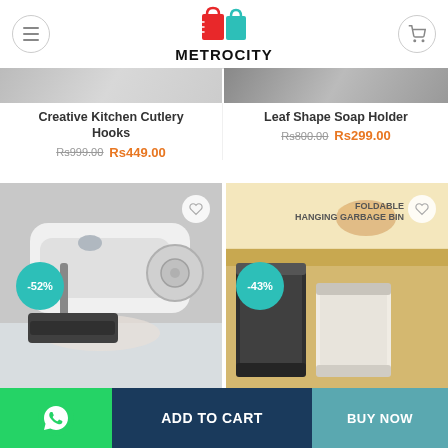[Figure (logo): Metrocity shopping logo with red bag and teal bag icons]
METROCITY
Creative Kitchen Cutlery Hooks
Rs999.00  Rs449.00
Leaf Shape Soap Holder
Rs800.00  Rs299.00
[Figure (photo): Hand sewing machine in use, with -52% discount badge]
[Figure (photo): Foldable hanging garbage bin product photo, with -43% discount badge]